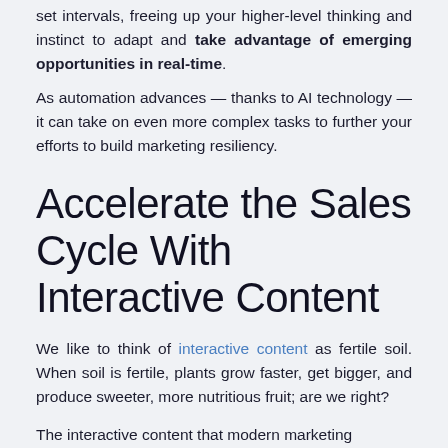set intervals, freeing up your higher-level thinking and instinct to adapt and take advantage of emerging opportunities in real-time.
As automation advances — thanks to AI technology — it can take on even more complex tasks to further your efforts to build marketing resiliency.
Accelerate the Sales Cycle With Interactive Content
We like to think of interactive content as fertile soil. When soil is fertile, plants grow faster, get bigger, and produce sweeter, more nutritious fruit; are we right?
The interactive content that modern marketing